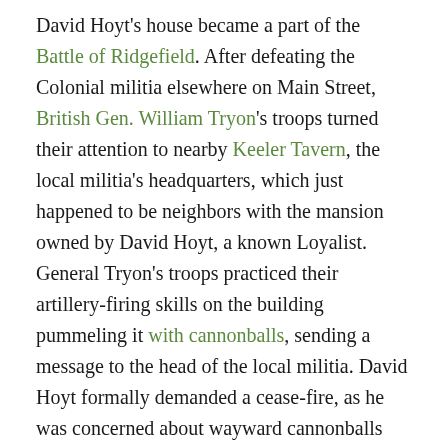David Hoyt's house became a part of the Battle of Ridgefield. After defeating the Colonial militia elsewhere on Main Street, British Gen. William Tryon's troops turned their attention to nearby Keeler Tavern, the local militia's headquarters, which just happened to be neighbors with the mansion owned by David Hoyt, a known Loyalist. General Tryon's troops practiced their artillery-firing skills on the building pummeling it with cannonballs, sending a message to the head of the local militia. David Hoyt formally demanded a cease-fire, as he was concerned about wayward cannonballs damaging his home. By 1790, with Ridgefield's British influence diminishing by the day, David Hoyt finally left his Connecticut home and sailed back to England. The home was expanded and modernized over the next two hundred years until the present owners purchased the property and underwent a massive restoration of the Colonial house inside and out as their family residence. In the past year, the inn opened as the Fountain Inn so-named after a Cass